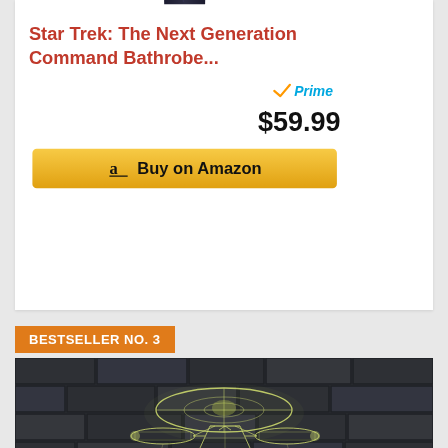[Figure (photo): Dark colored Star Trek bathrobe hanging, shown from above waist, on white background]
Star Trek: The Next Generation Command Bathrobe...
[Figure (logo): Amazon Prime logo with orange checkmark and blue Prime text]
$59.99
Buy on Amazon
BESTSELLER NO. 3
[Figure (photo): Star Trek Enterprise spaceship 3D LED wireframe lamp glowing yellow-green against dark stone brick wall background]